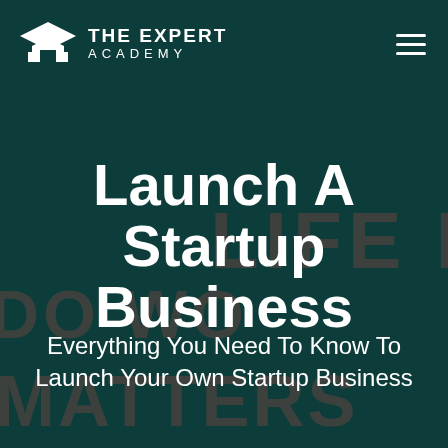[Figure (logo): The Expert Academy logo with graduation cap icon and text 'THE EXPERT ACADEMY']
Launch A Startup Business
Everything You Need To Know To Launch Your Own Startup Business